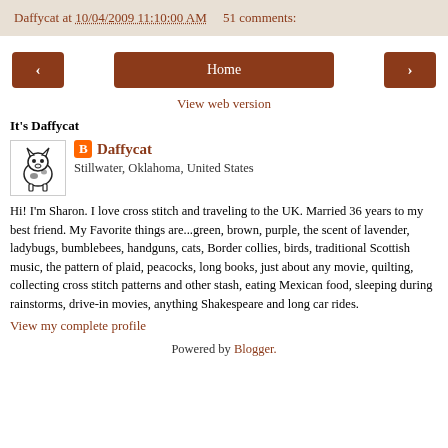Daffycat at 10/04/2009 11:10:00 AM   51 comments:
[Figure (other): Navigation buttons: left arrow, Home, right arrow]
View web version
It's Daffycat
[Figure (photo): Profile picture of a small cow/cat illustration in black and white]
Daffycat
Stillwater, Oklahoma, United States
Hi! I'm Sharon. I love cross stitch and traveling to the UK. Married 36 years to my best friend. My Favorite things are...green, brown, purple, the scent of lavender, ladybugs, bumblebees, handguns, cats, Border collies, birds, traditional Scottish music, the pattern of plaid, peacocks, long books, just about any movie, quilting, collecting cross stitch patterns and other stash, eating Mexican food, sleeping during rainstorms, drive-in movies, anything Shakespeare and long car rides.
View my complete profile
Powered by Blogger.